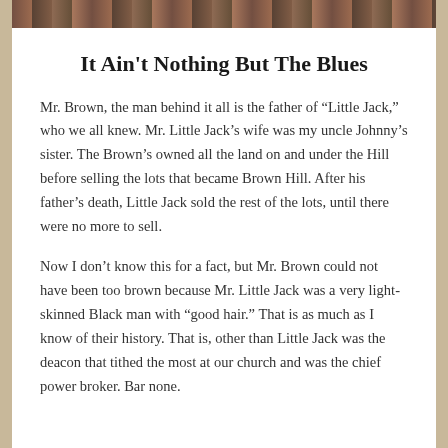[Figure (photo): A horizontal photo strip at the top of the page showing people]
It Ain't Nothing But The Blues
Mr. Brown, the man behind it all is the father of “Little Jack,” who we all knew. Mr. Little Jack’s wife was my uncle Johnny’s sister. The Brown’s owned all the land on and under the Hill before selling the lots that became Brown Hill. After his father’s death, Little Jack sold the rest of the lots, until there were no more to sell.
Now I don’t know this for a fact, but Mr. Brown could not have been too brown because Mr. Little Jack was a very light-skinned Black man with “good hair.” That is as much as I know of their history. That is, other than Little Jack was the deacon that tithed the most at our church and was the chief power broker. Bar none.